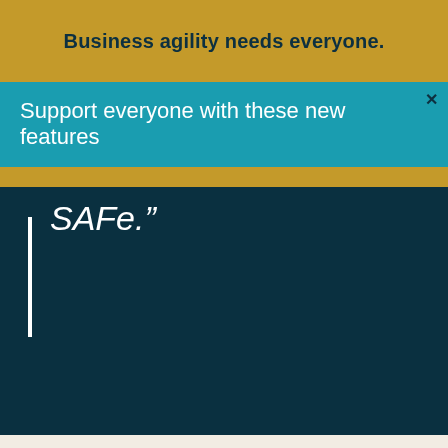Business agility needs everyone.
Support everyone with these new features
SAFe.”
SAFe® Courses
Leading SAFe®
Implementing SAFe®